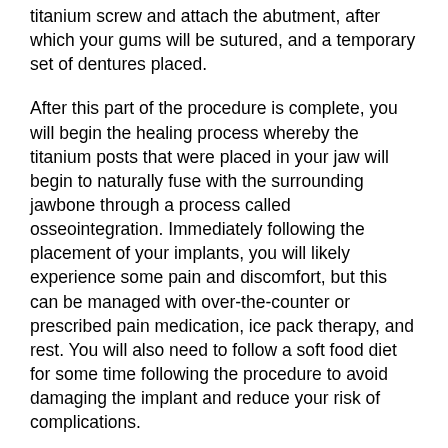titanium screw and attach the abutment, after which your gums will be sutured, and a temporary set of dentures placed.
After this part of the procedure is complete, you will begin the healing process whereby the titanium posts that were placed in your jaw will begin to naturally fuse with the surrounding jawbone through a process called osseointegration. Immediately following the placement of your implants, you will likely experience some pain and discomfort, but this can be managed with over-the-counter or prescribed pain medication, ice pack therapy, and rest. You will also need to follow a soft food diet for some time following the procedure to avoid damaging the implant and reduce your risk of complications.
Once the titanium posts have fully healed, you will return one last time and your permanent dentures will be placed and you can begin to enjoy having a bright, full smile again!
If you have additional questions about the All-on-4 or All-on-6 process, schedule a consultation with your periodontist. They can answer your questions and provide additional information